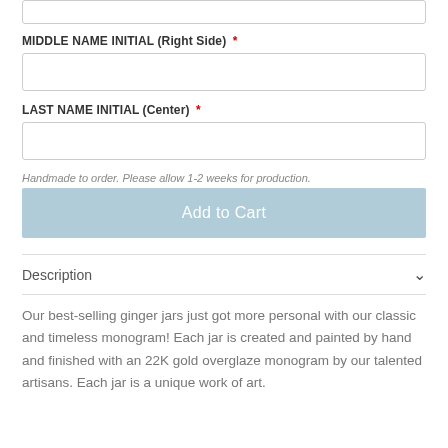MIDDLE NAME INITIAL (Right Side) *
LAST NAME INITIAL (Center) *
Handmade to order. Please allow 1-2 weeks for production.
Add to Cart
Description
Our best-selling ginger jars just got more personal with our classic and timeless monogram! Each jar is created and painted by hand and finished with an 22K gold overglaze monogram by our talented artisans. Each jar is a unique work of art.